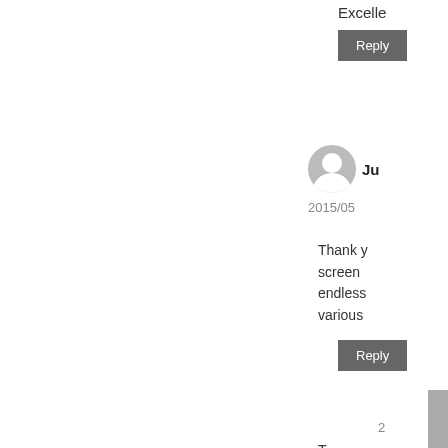Excelle
Reply
Ju
2015/05
Thank you
screen
endless
various
Reply
2
T
i
t